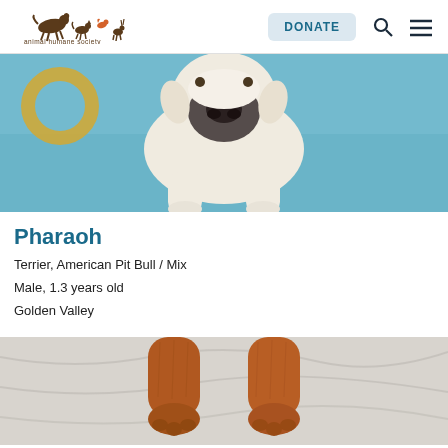animal humane society | DONATE
[Figure (photo): A white/cream American Pit Bull Terrier dog photographed from above against a blue background, looking up at the camera with a toy ring visible in the upper left.]
Pharaoh
Terrier, American Pit Bull / Mix
Male, 1.3 years old
Golden Valley
[Figure (photo): A brown/orange dog's paws holding a toy, photographed against a white/gray background.]